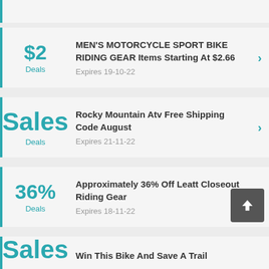$2 Deals — MEN'S MOTORCYCLE SPORT BIKE RIDING GEAR Items Starting At $2.66 — Expires 19-10-22
Sales Deals — Rocky Mountain Atv Free Shipping Code August — Expires 21-11-22
36% Deals — Approximately 36% Off Leatt Closeout Riding Gear — Expires 18-11-22
Sales — Win This Bike And Save A Trail